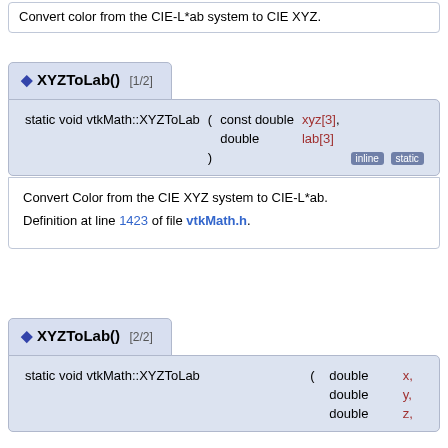Convert color from the CIE-L*ab system to CIE XYZ.
◆ XYZToLab() [1/2]
static void vtkMath::XYZToLab ( const double xyz[3], double lab[3] )
Convert Color from the CIE XYZ system to CIE-L*ab.

Definition at line 1423 of file vtkMath.h.
◆ XYZToLab() [2/2]
static void vtkMath::XYZToLab ( double x, double y, double z,